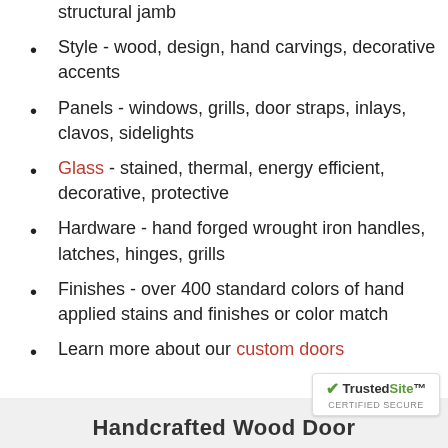Size - any size door, shape, structural jamb
Style - wood, design, hand carvings, decorative accents
Panels - windows, grills, door straps, inlays, clavos, sidelights
Glass - stained, thermal, energy efficient, decorative, protective
Hardware - hand forged wrought iron handles, latches, hinges, grills
Finishes - over 400 standard colors of hand applied stains and finishes or color match
Learn more about our custom doors
Handcrafted Wood Door